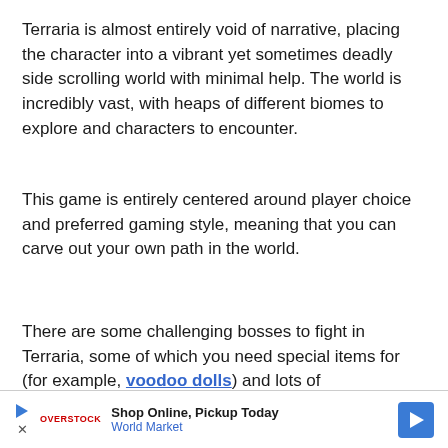Terraria is almost entirely void of narrative, placing the character into a vibrant yet sometimes deadly side scrolling world with minimal help. The world is incredibly vast, with heaps of different biomes to explore and characters to encounter.
This game is entirely centered around player choice and preferred gaming style, meaning that you can carve out your own path in the world.
There are some challenging bosses to fight in Terraria, some of which you need special items for (for example, voodoo dolls) and lots of achievements to unlock if you like, but everything is ultim...